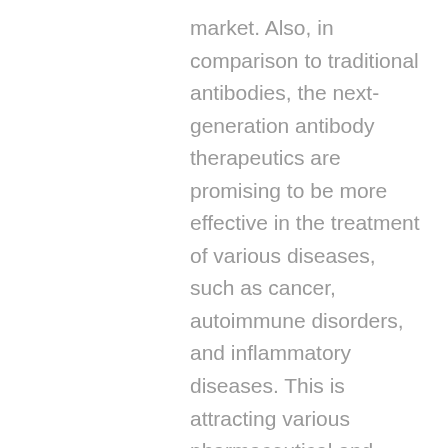market. Also, in comparison to traditional antibodies, the next-generation antibody therapeutics are promising to be more effective in the treatment of various diseases, such as cancer, autoimmune disorders, and inflammatory diseases. This is attracting various pharmaceutical and biotechnology companies to increase their investment in the R&D of next-generation antibody therapeutics.
New technologies like Dyadic's C1 technology have the potential to provide the pharmaceutical industry with a way to insure patient access and affordability